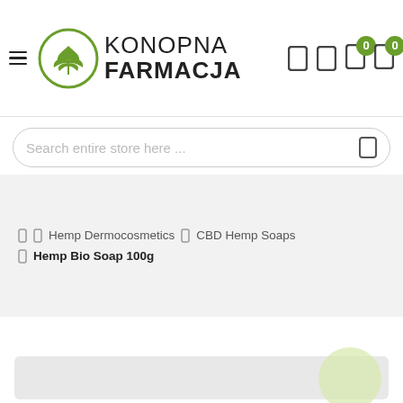[Figure (logo): Konopna Farmacja logo with cannabis leaf in circle and text]
Konopna Farmacja - header with search bar and cart icons
Search entire store here ...
Hemp Dermocosmetics > CBD Hemp Soaps > Hemp Bio Soap 100g
[Figure (other): Bottom content area with light bar and decorative circle]